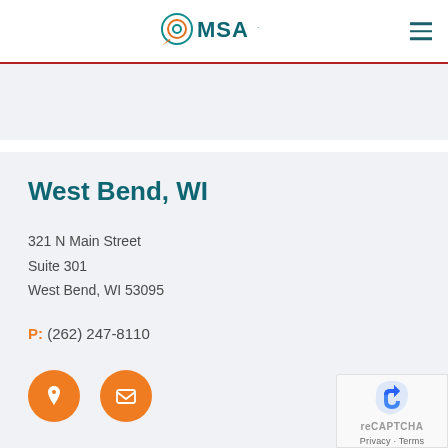[Figure (logo): MSA logo with circular target icon in teal and orange, company name MSA in teal letters]
West Bend, WI
321 N Main Street
Suite 301
West Bend, WI 53095
P: (262) 247-8110
[Figure (illustration): Two orange circular icon buttons: a map pin/location icon and an envelope/email icon]
[Figure (other): Google reCAPTCHA badge with Privacy and Terms text]